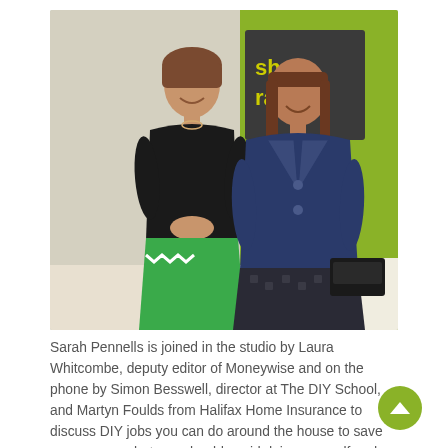[Figure (photo): Two women standing side by side smiling in a radio studio with a green accent wall and a partially visible sign reading 'shore ra'. The woman on the left wears a black top and green skirt; the woman on the right wears a denim jacket.]
Sarah Pennells is joined in the studio by Laura Whitcombe, deputy editor of Moneywise and on the phone by Simon Besswell, director at The DIY School, and Martyn Foulds from Halifax Home Insurance to discuss DIY jobs you can do around the house to save you money, what you should avoid doing yourself and courses you